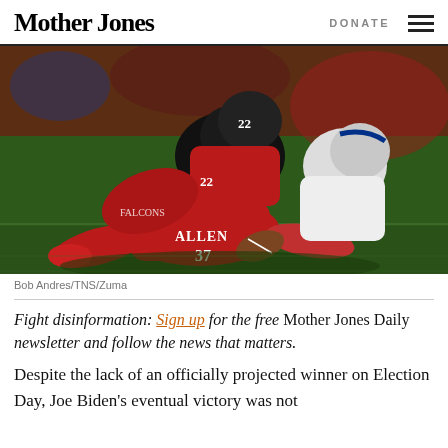Mother Jones | DONATE
[Figure (photo): NFL football game scene showing Atlanta Falcons players (including #37 Allen and #22) tackling a New England Patriots player on the field during a fumble or loose ball play. Photo credit: Bob Andres/TNS/Zuma]
Bob Andres/TNS/Zuma
Fight disinformation: Sign up for the free Mother Jones Daily newsletter and follow the news that matters.
Despite the lack of an officially projected winner on Election Day, Joe Biden's eventual victory was not